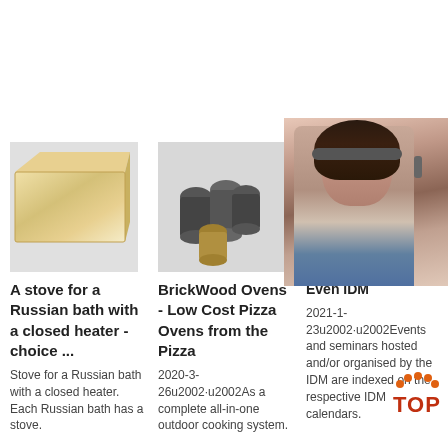[Figure (other): Orange 'Get Price' button]
[Figure (other): 24/7 Online banner with customer service agent photo, 'Click here for free chat!' bubble, and orange QUOTATION button]
[Figure (photo): Photo of a beige firebrick/refractory brick]
A stove for a Russian bath with a closed heater - choice ...
Stove for a Russian bath with a closed heater. Each Russian bath has a stove.
[Figure (photo): Photo of dark cylindrical metal nozzles/fittings]
BrickWood Ovens - Low Cost Pizza Ovens from the Pizza
2020-3-26u2002·u2002As a complete all-in-one outdoor cooking system.
[Figure (photo): Photo of a small grey/beige refractory brick block]
Even IDM
2021-1-23u2002·u2002Events and seminars hosted and/or organised by the IDM are indexed on the respective IDM calendars.
[Figure (logo): TOP badge/logo in orange and red]